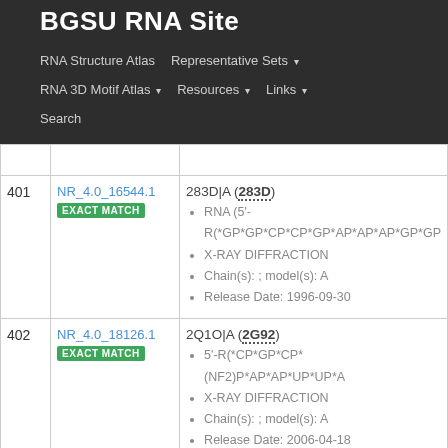BGSU RNA Site
RNA Structure Atlas | Representative Sets ▾ | RNA 3D Motif Atlas ▾ | Resources ▾ | Links ▾ | Search
| # | ID | Details |
| --- | --- | --- |
| 401 | NR_4.0_16544.1 EXACT MATCH | 283D|A (283D) • RNA (5'-R(*GP*GP*CP*CP*GP*AP*AP*AP*GP*GP... • X-RAY DIFFRACTION • Chain(s): ; model(s): A • Release Date: 1996-09-30 |
| 402 | NR_4.0_18126.1 EXACT MATCH | 2Q1O|A (2G92) • 5'-R(*CP*GP*CP*(NF2)P*AP*AP*UP*UP*A... • X-RAY DIFFRACTION • Chain(s): ; model(s): A • Release Date: 2006-04-18 |
| 403 | NR_4.0_21447.1 | 1ZBIIC (1ZBI) |